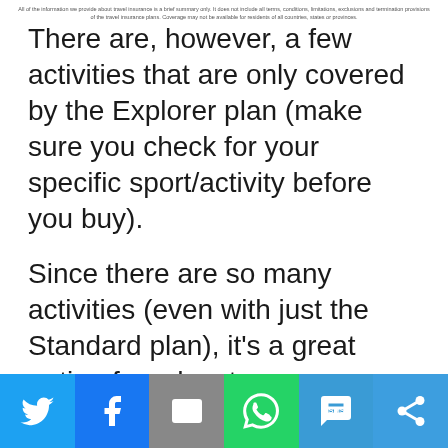All of the information we provide about travel insurance is a brief summary only. It does not include all terms, conditions, limitations, exclusions and termination provisions of the travel insurance plans. Coverage may not be available for residents of all countries, states or provinces.
There are, however, a few activities that are only covered by the Explorer plan (make sure you check for your specific sport/activity before you buy).
Since there are so many activities (even with just the Standard plan), it's a great option for adventurous travelers who practice lots of types of sports and might need emergency medical coverage.
The price, when you consider all it covers, is really worth it. Just to help you have an idea, I got a
[Figure (infographic): Social sharing bar with six buttons: Twitter (blue), Facebook (dark blue), Email/envelope (gray), WhatsApp (green), SMS (light blue), More/share (blue)]